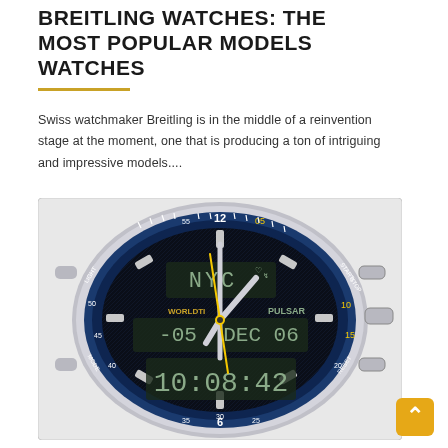BREITLING WATCHES: THE MOST POPULAR MODELS WATCHES
Swiss watchmaker Breitling is in the middle of a reinvention stage at the moment, one that is producing a ton of intriguing and impressive models....
[Figure (photo): Close-up photo of a Pulsar analog-digital watch with blue bezel, dark dial showing 'NYC' city code, date DEC 06, time 10:08:42, WORLDTIME text, and yellow accents. The watch face shows analog hands and a digital display.]